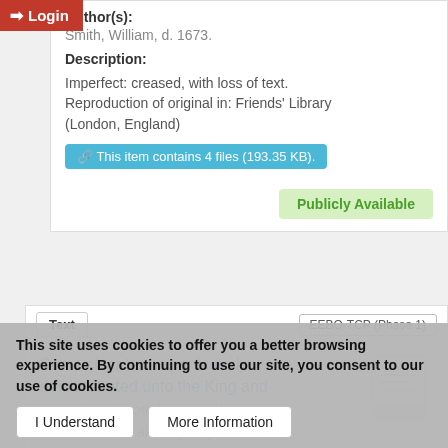Author(s): Smith, William, d. 1673.
Description:
Imperfect: creased, with loss of text. Reproduction of original in: Friends' Library (London, England)
This item contains 4 files (193.35 KB).
Publicly Available
Text
EEBO-TCP (Phase 1)
Some clear truths particularly demonstrated unto the King and council, and both houses of Parliament; to all judges, justices, and shipmasters, why the tithes-lord, to enable people, called Quakers, to run non-residence published out of
This site uses cookies to offer you a better browsing experience. By continuing to use our site, you consent to our use of cookies.
I Understand
More Information